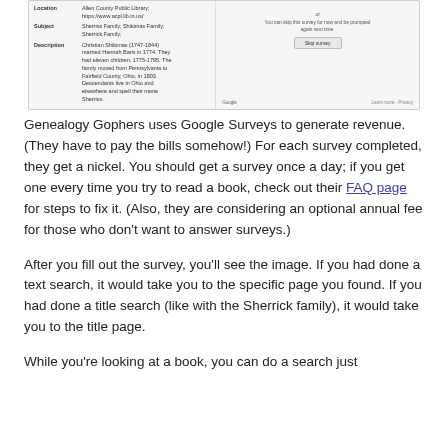[Figure (screenshot): Screenshot of a Genealogy Gophers library record showing Location, Subject, and Description fields on the left, and a Google Survey skip option on the right with 'Skip survey' button and Google branding.]
Genealogy Gophers uses Google Surveys to generate revenue. (They have to pay the bills somehow!) For each survey completed, they get a nickel. You should get a survey once a day; if you get one every time you try to read a book, check out their FAQ page for steps to fix it. (Also, they are considering an optional annual fee for those who don't want to answer surveys.)
After you fill out the survey, you'll see the image. If you had done a text search, it would take you to the specific page you found. If you had done a title search (like with the Sherrick family), it would take you to the title page.
While you're looking at a book, you can do a search just